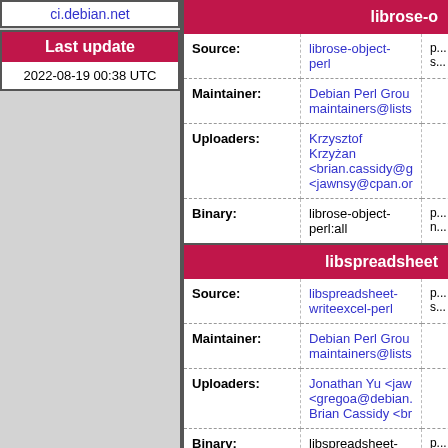ci.debian.net
| Last update |
| --- |
| 2022-08-19 00:38 UTC |
| librose-o... |  |  |
| --- | --- | --- |
| Source: | librose-object-perl | p... s... |
| Maintainer: | Debian Perl Group maintainers@lists |  |
| Uploaders: | Krzysztof Krzyżan... <brian.cassidy@g... <jawnsy@cpan.or... |  |
| Binary: | librose-object-perl:all | p... n... |
| libspreadsheet... |  |  |
| --- | --- | --- |
| Source: | libspreadsheet-writeexcel-perl | p... s... |
| Maintainer: | Debian Perl Group maintainers@lists |  |
| Uploaders: | Jonathan Yu <jaw... <gregoa@debian.... Brian Cassidy <br... |  |
| Binary: | libspreadsheet-writeexcel-... | p... |